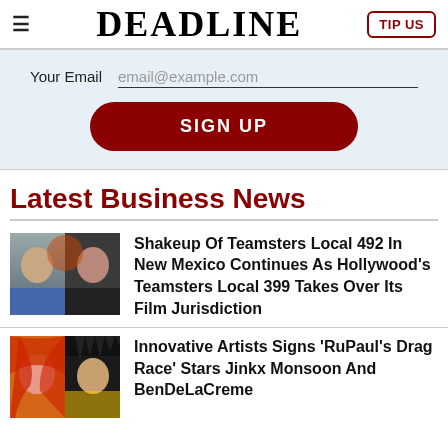≡  DEADLINE  TIP US
Your Email  email@example.com
SIGN UP
Latest Business News
[Figure (photo): Two people headshots side by side]
Shakeup Of Teamsters Local 492 In New Mexico Continues As Hollywood's Teamsters Local 399 Takes Over Its Film Jurisdiction
[Figure (photo): Two drag performers headshots side by side]
Innovative Artists Signs 'RuPaul's Drag Race' Stars Jinkx Monsoon And BenDeLaCreme